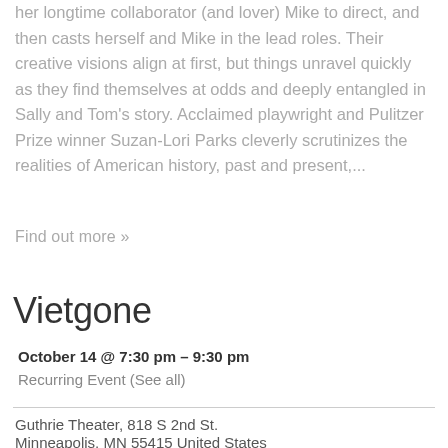her longtime collaborator (and lover) Mike to direct, and then casts herself and Mike in the lead roles. Their creative visions align at first, but things unravel quickly as they find themselves at odds and deeply entangled in Sally and Tom's story. Acclaimed playwright and Pulitzer Prize winner Suzan-Lori Parks cleverly scrutinizes the realities of American history, past and present,...
Find out more »
Vietgone
October 14 @ 7:30 pm - 9:30 pm
Recurring Event (See all)
Guthrie Theater, 818 S 2nd St.
Minneapolis, MN 55415 United States